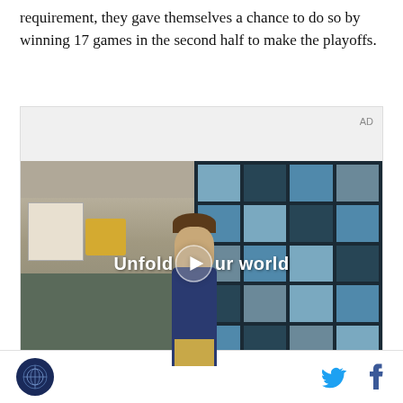requirement, they gave themselves a chance to do so by winning 17 games in the second half to make the playoffs.
[Figure (photo): Video advertisement showing a young man in a denim jacket standing in front of a tiled window wall. Text overlay reads 'Unfold your world' with a play button. AD label in top-right corner.]
Site logo icon | Twitter icon | Facebook icon